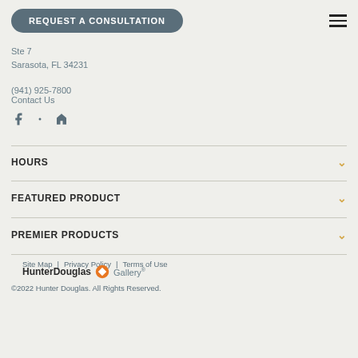REQUEST A CONSULTATION
Ste 7
Sarasota, FL 34231
(941) 925-7800
Contact Us
[Figure (illustration): Social media icons: Facebook, Yelp, Houzz]
HOURS
FEATURED PRODUCT
PREMIER PRODUCTS
Site Map | Privacy Policy | Terms of Use
HunterDouglas Gallery®
©2022 Hunter Douglas. All Rights Reserved.